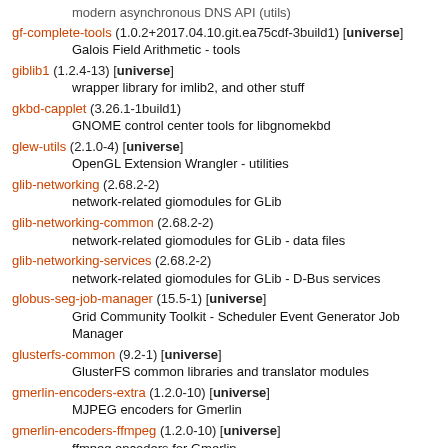modern asynchronous DNS API (utils)
gf-complete-tools (1.0.2+2017.04.10.git.ea75cdf-3build1) [universe]
        Galois Field Arithmetic - tools
giblib1 (1.2.4-13) [universe]
        wrapper library for imlib2, and other stuff
gkbd-capplet (3.26.1-1build1)
        GNOME control center tools for libgnomekbd
glew-utils (2.1.0-4) [universe]
        OpenGL Extension Wrangler - utilities
glib-networking (2.68.2-2)
        network-related giomodules for GLib
glib-networking-common (2.68.2-2)
        network-related giomodules for GLib - data files
glib-networking-services (2.68.2-2)
        network-related giomodules for GLib - D-Bus services
globus-seg-job-manager (15.5-1) [universe]
        Grid Community Toolkit - Scheduler Event Generator Job Manager
glusterfs-common (9.2-1) [universe]
        GlusterFS common libraries and translator modules
gmerlin-encoders-extra (1.2.0-10) [universe]
        MJPEG encoders for Gmerlin
gmerlin-encoders-ffmpeg (1.2.0-10) [universe]
        ffmpeg encoders for Gmerlin
gmerlin-encoders-good (1.2.0-10) [universe]